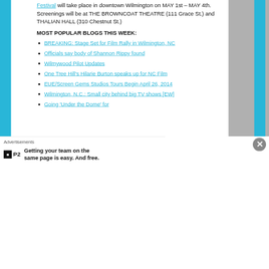Festival will take place in downtown Wilmington on MAY 1st – MAY 4th. Screenings will be at THE BROWNCOAT THEATRE (111 Grace St.) and THALIAN HALL (310 Chestnut St.)
MOST POPULAR BLOGS THIS WEEK:
BREAKING: Stage Set for Film Rally in Wilmington, NC
Officials say body of Shannon Rippy found
Wilmywood Pilot Updates
One Tree Hill's Hilarie Burton speaks up for NC Film
EUE/Screen Gems Studios Tours Begin April 26, 2014
Wilmington, N.C.: Small city behind big TV shows [EW]
Going 'Under the Dome' for
Advertisements
Getting your team on the same page is easy. And free.